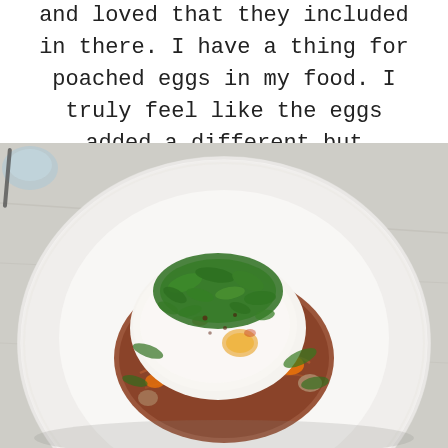and loved that they included in there. I have a thing for poached eggs in my food. I truly feel like the eggs added a different but tasteful flavor to the typical Fideo Loco many are used to.
[Figure (photo): A white bowl containing Fideo Loco topped with a poached egg, fresh herbs (cilantro), colorful peppers, and mushrooms, served on a marble surface.]